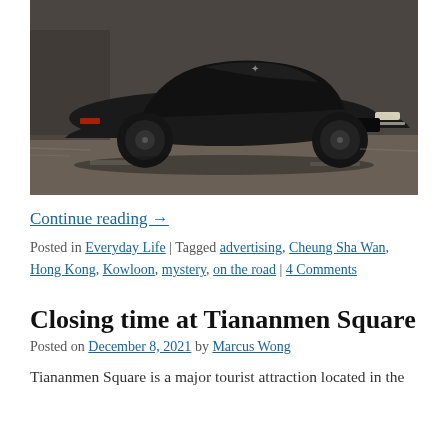[Figure (photo): A black Polestar electric car driving on a road, photographed from a low angle. The car is sleek and modern against a blurred background.]
Continue reading →
Posted in Everyday Life | Tagged advertising, Cheung Sha Wan, Hong Kong, Kowloon, mystery, on the road | 4 Comments
Closing time at Tiananmen Square
Posted on December 8, 2021 by Marcus Wong
Tiananmen Square is a major tourist attraction located in the